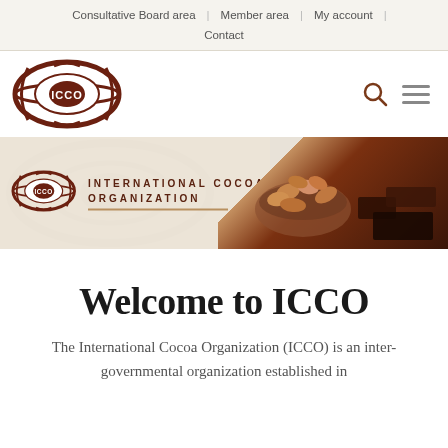Consultative Board area | Member area | My account | Contact
[Figure (logo): ICCO logo - circular brown emblem with cocoa pod and ICCO text]
[Figure (illustration): ICCO International Cocoa Organization banner with logo, text, and cocoa beans/chocolate photo on the right]
Welcome to ICCO
The International Cocoa Organization (ICCO) is an inter-governmental organization established in